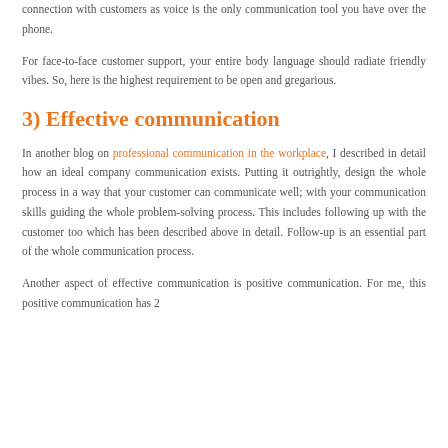connection with customers as voice is the only communication tool you have over the phone.
For face-to-face customer support, your entire body language should radiate friendly vibes. So, here is the highest requirement to be open and gregarious.
3) Effective communication
In another blog on professional communication in the workplace, I described in detail how an ideal company communication exists. Putting it outrightly, design the whole process in a way that your customer can communicate well; with your communication skills guiding the whole problem-solving process. This includes following up with the customer too which has been described above in detail. Follow-up is an essential part of the whole communication process.
Another aspect of effective communication is positive communication. For me, this positive communication has 2